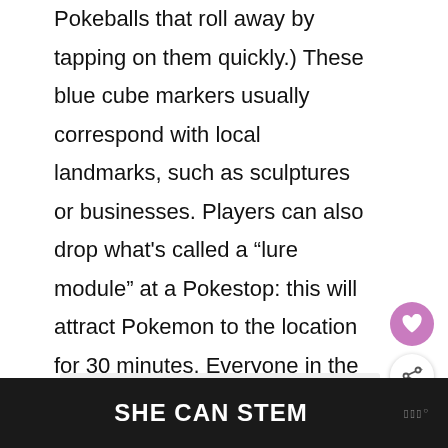Pokeballs that roll away by tapping on them quickly.) These blue cube markers usually correspond with local landmarks, such as sculptures or businesses. Players can also drop what's called a “lure module” at a Pokestop: this will attract Pokemon to the location for 30 minutes. Everyone in the area benefits from the lure, not just the player who placed it.
SHE CAN STEM